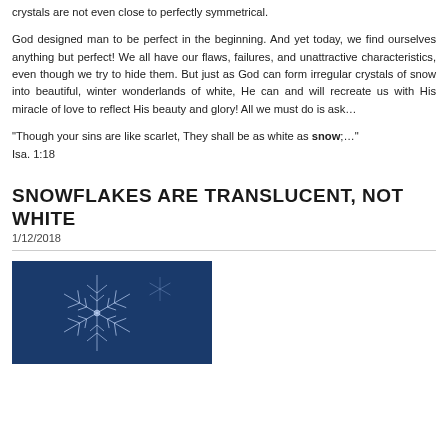crystals are not even close to perfectly symmetrical.
God designed man to be perfect in the beginning. And yet today, we find ourselves anything but perfect! We all have our flaws, failures, and unattractive characteristics, even though we try to hide them. But just as God can form irregular crystals of snow into beautiful, winter wonderlands of white, He can and will recreate us with His miracle of love to reflect His beauty and glory! All we must do is ask…
“Though your sins are like scarlet, They shall be as white as snow;…” Isa. 1:18
SNOWFLAKES ARE TRANSLUCENT, NOT WHITE
1/12/2018
[Figure (photo): Close-up photograph of a snowflake crystal on a dark blue background]